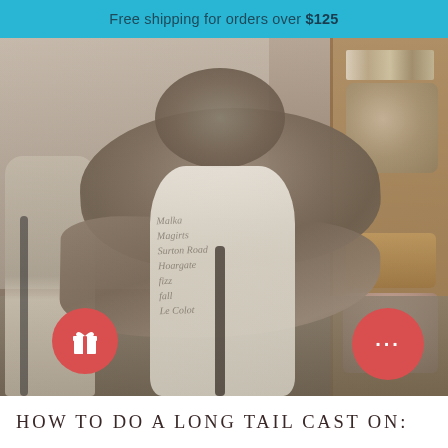Free shipping for orders over $125
[Figure (photo): Photo of a taupe/grey knitted shawl draped around a dress form mannequin, with a bookshelf of yarn in the background. Two circular buttons overlay the bottom of the photo: a red gift icon button on the left and a red chat/messaging button on the right.]
HOW TO DO A LONG TAIL CAST ON: